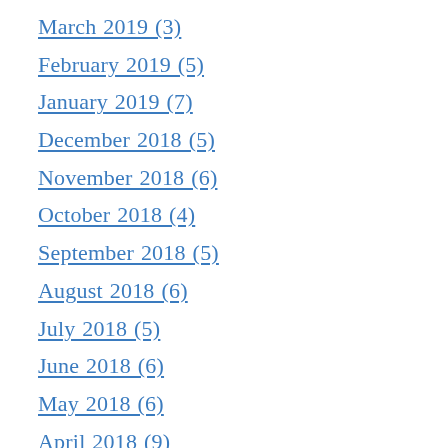March 2019 (3)
February 2019 (5)
January 2019 (7)
December 2018 (5)
November 2018 (6)
October 2018 (4)
September 2018 (5)
August 2018 (6)
July 2018 (5)
June 2018 (6)
May 2018 (6)
April 2018 (9)
March 2018 (11)
February 2018 (9)
January 2018 (10)
December 2017 (8)
November 2017 (12)